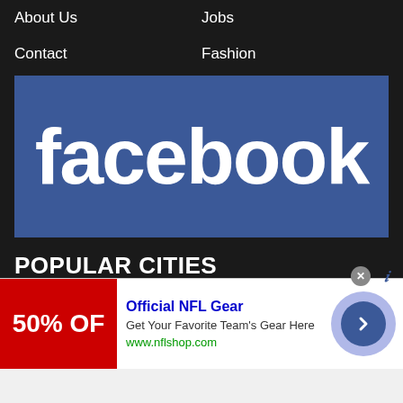About Us
Jobs
Contact
Fashion
[Figure (logo): Facebook logo — white bold lowercase 'facebook' text on blue (#3b5998) background banner]
POPULAR CITIES
Rawalpindi
Ghaziabad
Skardu
Islamabad
Bahawalpur
Kahuta
Sohwan Sharif
Hyderabad
Bhakkar
[Figure (screenshot): Advertisement banner: Official NFL Gear — 50% OFF red image, blue title, description 'Get Your Favorite Team's Gear Here', URL www.nflshop.com, blue arrow button on right]